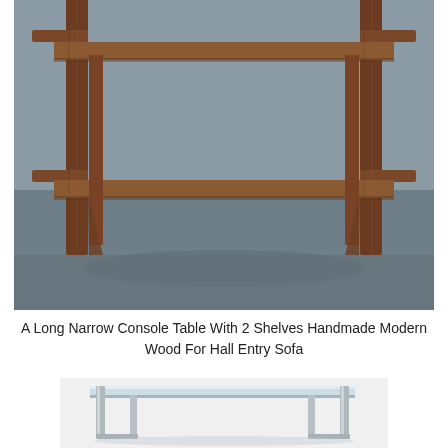[Figure (photo): A wooden console table with two shelves, handmade modern design, photographed from the front against a gray background. The table has dark walnut-toned wood with a craftsman/arts-and-crafts style joinery visible on the sides.]
A Long Narrow Console Table With 2 Shelves Handmade Modern Wood For Hall Entry Sofa
[Figure (photo): A modern glass and chrome/silver metal console table photographed from the front at a slight angle on a white background. The table has a clear glass top and metal frame legs.]